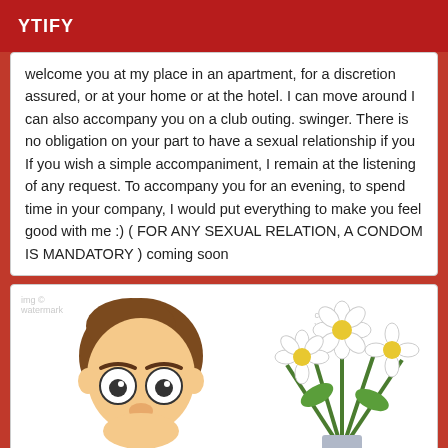YTIFY
welcome you at my place in an apartment, for a discretion assured, or at your home or at the hotel. I can move around I can also accompany you on a club outing. swinger. There is no obligation on your part to have a sexual relationship if you If you wish a simple accompaniment, I remain at the listening of any request. To accompany you for an evening, to spend time in your company, I would put everything to make you feel good with me :) ( FOR ANY SEXUAL RELATION, A CONDOM IS MANDATORY ) coming soon
[Figure (illustration): Cartoon illustration of a man's face peeking up from the bottom left, and a bouquet of white daisies on the right side]